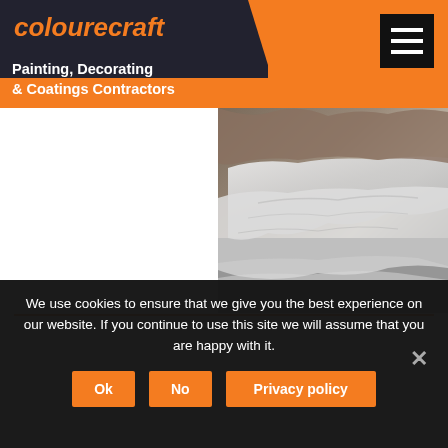colourecraft - Painting, Decorating & Coatings Contractors
[Figure (photo): Photo of white fabric/sheet draped over an object on a dark floor, likely showing surface protection during painting work]
We use cookies to ensure that we give you the best experience on our website. If you continue to use this site we will assume that you are happy with it.